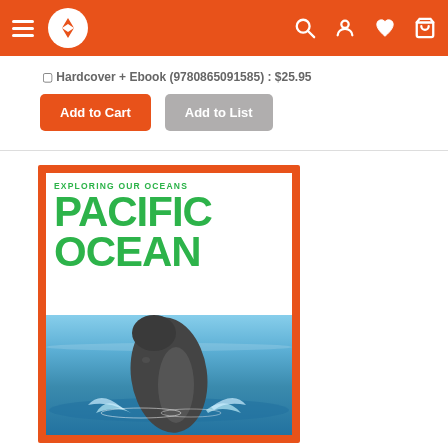Navigation bar with hamburger menu, logo, search, account, wishlist, cart icons
Hardcover + Ebook (9780865091585) : $25.95
Add to Cart | Add to List
[Figure (photo): Book cover: Exploring Our Oceans – Pacific Ocean, featuring a humpback whale breaching the ocean surface, with an orange decorative border. Title text in bold green reads EXPLORING OUR OCEANS / PACIFIC OCEAN.]